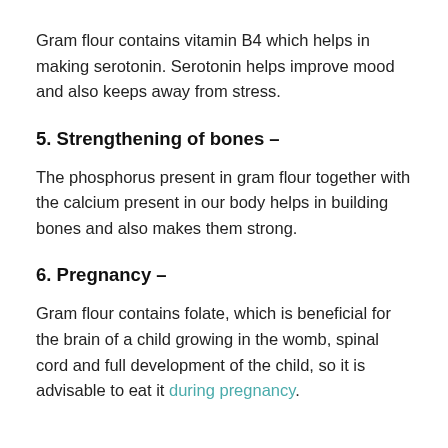Gram flour contains vitamin B4 which helps in making serotonin. Serotonin helps improve mood and also keeps away from stress.
5. Strengthening of bones –
The phosphorus present in gram flour together with the calcium present in our body helps in building bones and also makes them strong.
6. Pregnancy –
Gram flour contains folate, which is beneficial for the brain of a child growing in the womb, spinal cord and full development of the child, so it is advisable to eat it during pregnancy.